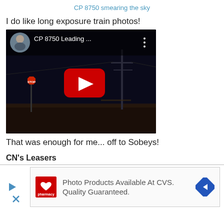CP 8750 smearing the sky
I do like long exposure train photos!
[Figure (screenshot): YouTube video thumbnail showing 'CP 8750 Leading ...' with a dark night sky scene, a stop sign, utility poles, and a red YouTube play button. User avatar of a bald man in a circular thumbnail.]
That was enough for me... off to Sobeys!
CN's Leasers
[Figure (screenshot): CVS Pharmacy advertisement: 'Photo Products Available At CVS. Quality Guaranteed.' with CVS logo and a blue navigation arrow icon.]